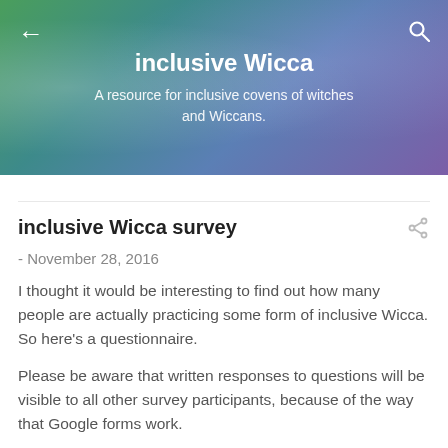inclusive Wicca
A resource for inclusive covens of witches and Wiccans.
inclusive Wicca survey
- November 28, 2016
I thought it would be interesting to find out how many people are actually practicing some form of inclusive Wicca. So here's a questionnaire.
Please be aware that written responses to questions will be visible to all other survey participants, because of the way that Google forms work.
If you would like to be listed as an inclusive coven, please go to the Files section of the inclusive Wicca Facebook